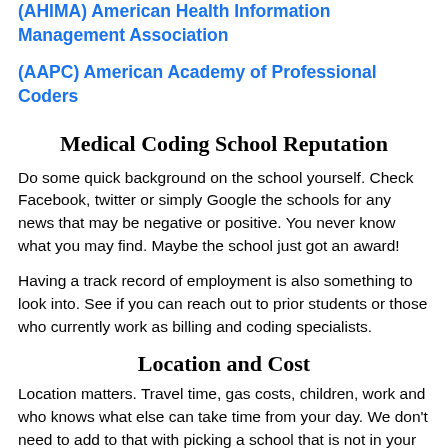(AHIMA) American Health Information Management Association
(AAPC) American Academy of Professional Coders
Medical Coding School Reputation
Do some quick background on the school yourself. Check Facebook, twitter or simply Google the schools for any news that may be negative or positive. You never know what you may find. Maybe the school just got an award!
Having a track record of employment is also something to look into. See if you can reach out to prior students or those who currently work as billing and coding specialists.
Location and Cost
Location matters. Travel time, gas costs, children, work and who knows what else can take time from your day. We don't need to add to that with picking a school that is not in your area of comfort. Weighing your options means you need all the information. Find out where the physical school is and